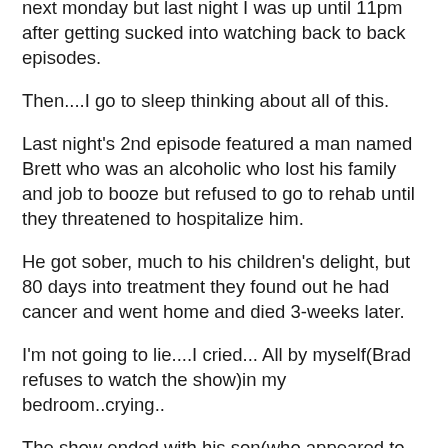next monday but last night I was up until 11pm after getting sucked into watching back to back episodes.
Then....I go to sleep thinking about all of this.
Last night's 2nd episode featured a man named Brett who was an alcoholic who lost his family and job to booze but refused to go to rehab until they threatened to hospitalize him.
He got sober, much to his children's delight, but 80 days into treatment they found out he had cancer and went home and died 3-weeks later.
I'm not going to lie....I cried... All by myself(Brad refuses to watch the show)in my bedroom..crying..
The show ended with his son(who appeared to around 11-years old) saying that at least his Dad didn't die an alcoholic but instead he died a Dad. It broke my heart.
Did anyone else see this episode? My Mom has preached at me through the years not to watch trash like this because it's